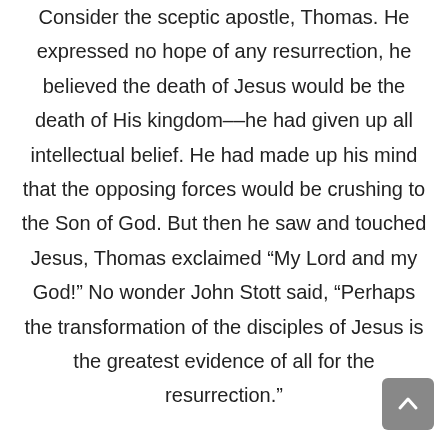Consider the sceptic apostle, Thomas. He expressed no hope of any resurrection, he believed the death of Jesus would be the death of His kingdom––he had given up all intellectual belief. He had made up his mind that the opposing forces would be crushing to the Son of God. But then he saw and touched Jesus, Thomas exclaimed “My Lord and my God!” No wonder John Stott said, “Perhaps the transformation of the disciples of Jesus is the greatest evidence of all for the resurrection.”

Consider James, not the apostle, but the brother of Jesus. Before the resurrection he did not believe Him (John 7:5). But after the